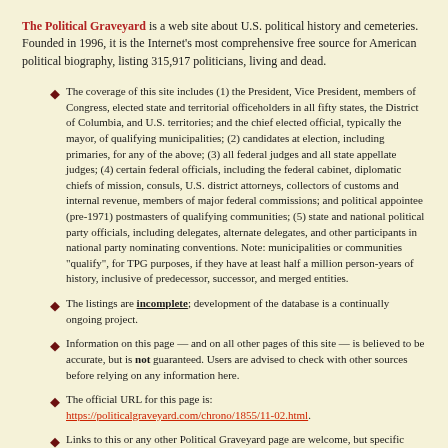The Political Graveyard is a web site about U.S. political history and cemeteries. Founded in 1996, it is the Internet's most comprehensive free source for American political biography, listing 315,917 politicians, living and dead.
The coverage of this site includes (1) the President, Vice President, members of Congress, elected state and territorial officeholders in all fifty states, the District of Columbia, and U.S. territories; and the chief elected official, typically the mayor, of qualifying municipalities; (2) candidates at election, including primaries, for any of the above; (3) all federal judges and all state appellate judges; (4) certain federal officials, including the federal cabinet, diplomatic chiefs of mission, consuls, U.S. district attorneys, collectors of customs and internal revenue, members of major federal commissions; and political appointee (pre-1971) postmasters of qualifying communities; (5) state and national political party officials, including delegates, alternate delegates, and other participants in national party nominating conventions. Note: municipalities or communities "qualify", for TPG purposes, if they have at least half a million person-years of history, inclusive of predecessor, successor, and merged entities.
The listings are incomplete; development of the database is a continually ongoing project.
Information on this page — and on all other pages of this site — is believed to be accurate, but is not guaranteed. Users are advised to check with other sources before relying on any information here.
The official URL for this page is: https://politicalgraveyard.com/chrono/1855/11-02.html.
Links to this or any other Political Graveyard page are welcome, but specific page addresses may sometimes change as the site develops.